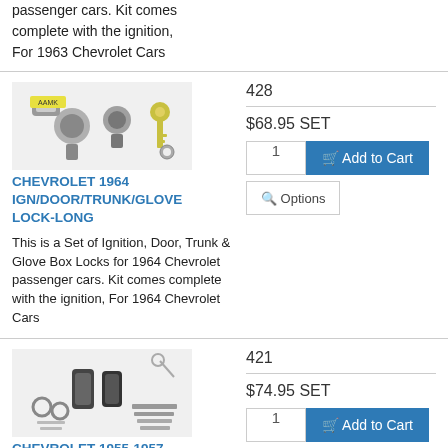passenger cars. Kit comes complete with the ignition, For 1963 Chevrolet Cars
[Figure (photo): Photo of ignition, door, trunk and glove lock set with keys]
CHEVROLET 1964 IGN/DOOR/TRUNK/GLOVE LOCK-LONG
This is a Set of Ignition, Door, Trunk & Glove Box Locks for 1964 Chevrolet passenger cars. Kit comes complete with the ignition, For 1964 Chevrolet Cars
428
$68.95 SET
[Figure (photo): Photo of ignition, door, trunk and glove lock set for 1955-1957 Chevrolet]
CHEVROLET 1955-1957 IGN/DOOR/TRUNK/GLOVE LOCK-FLAT
421
$74.95 SET